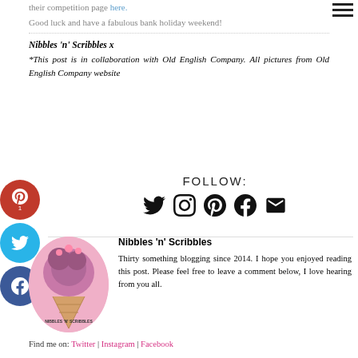their competition page here.
Good luck and have a fabulous bank holiday weekend!
Nibbles 'n' Scribbles x
*This post is in collaboration with Old English Company. All pictures from Old English Company website
[Figure (infographic): FOLLOW: section with social media icons for Twitter, Instagram, Pinterest, Facebook, and Email]
[Figure (photo): Circular profile photo of Nibbles 'n' Scribbles blog logo - pink ice cream cone]
Nibbles 'n' Scribbles
Thirty something blogging since 2014. I hope you enjoyed reading this post. Please feel free to leave a comment below, I love hearing from you all.
Find me on: Twitter | Instagram | Facebook